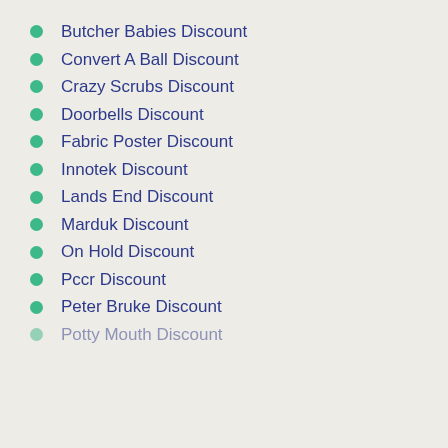Butcher Babies Discount
Convert A Ball Discount
Crazy Scrubs Discount
Doorbells Discount
Fabric Poster Discount
Innotek Discount
Lands End Discount
Marduk Discount
On Hold Discount
Pccr Discount
Peter Bruke Discount
Potty Mouth Discount